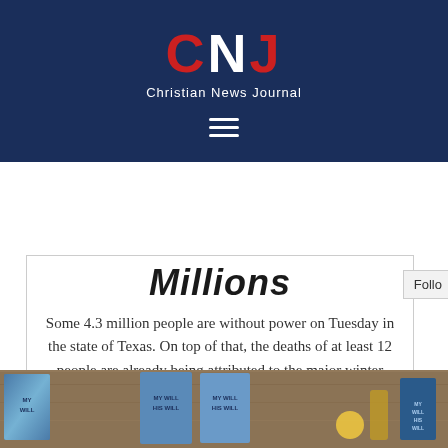CNJ Christian News Journal
Millions
Some 4.3 million people are without power on Tuesday in the state of Texas. On top of that, the deaths of at least 12 people are already being attributed to the major winter storm that's sweeping across dozens of states. The current winter storm is “one of the most merciless
[the_ad id="27904"]
[Figure (photo): Books on a wooden table surface, showing book covers with blue ocean/water imagery and text 'MY WILL HIS WILL']